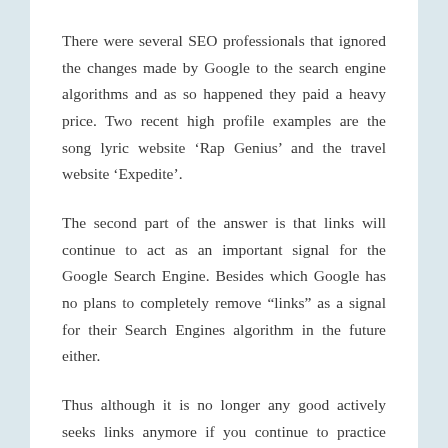There were several SEO professionals that ignored the changes made by Google to the search engine algorithms and as so happened they paid a heavy price. Two recent high profile examples are the song lyric website ‘Rap Genius’ and the travel website ‘Expedite’.
The second part of the answer is that links will continue to act as an important signal for the Google Search Engine. Besides which Google has no plans to completely remove “links” as a signal for their Search Engines algorithm in the future either.
Thus although it is no longer any good actively seeks links anymore if you continue to practice good SEO techniques and do things right the links will come. This way there is no risk of being penalized as well. Such types of links are called earned links and are the ones that